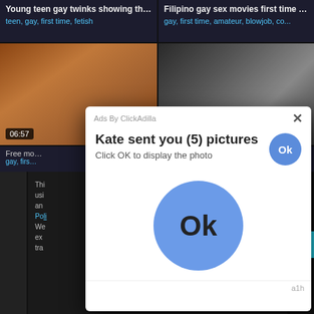Young teen gay twinks showing their...
teen, gay, first time, fetish
Filipino gay sex movies first time Th...
gay, first time, amateur, blowjob, co...
[Figure (photo): Video thumbnail showing two people on a bed, duration badge 06:57]
[Figure (photo): Video thumbnail showing a person in a white lab coat with stethoscope, duration badge 07:30]
Free mo... np ver...
gay, firs... unifo...
[Figure (screenshot): Ad popup overlay: 'Kate sent you (5) pictures / Click OK to display the photo' with large blue Ok button, Ads By ClickAdilla label, X close button, a1h footer]
Ads By ClickAdilla
Kate sent you (5) pictures
Click OK to display the photo
Ok
Ok
a1h